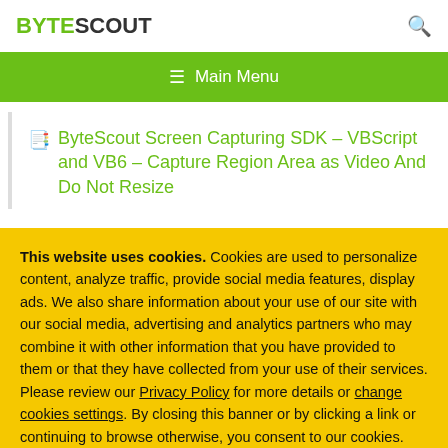BYTESCOUT
ByteScout Screen Capturing SDK – VBScript and VB6 – Capture Region Area as Video And Do Not Resize
This website uses cookies. Cookies are used to personalize content, analyze traffic, provide social media features, display ads. We also share information about your use of our site with our social media, advertising and analytics partners who may combine it with other information that you have provided to them or that they have collected from your use of their services. Please review our Privacy Policy for more details or change cookies settings. By closing this banner or by clicking a link or continuing to browse otherwise, you consent to our cookies.
OK